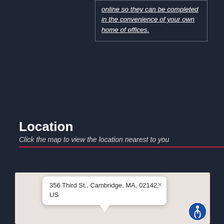online so they can be completed in the convenience of your own home of offices.
Location
Click the map to view the location nearest to you
[Figure (map): Map showing location popup with address: 356 Third St., Cambridge, MA, 02142, US. Map background is light beige/gray. Accessibility icon in bottom right corner.]